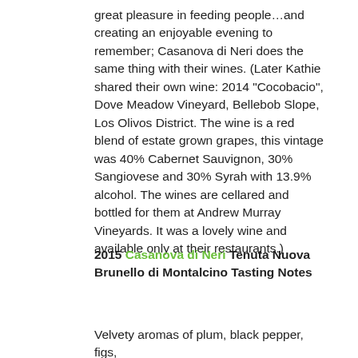great pleasure in feeding people…and creating an enjoyable evening to remember; Casanova di Neri does the same thing with their wines. (Later Kathie shared their own wine: 2014 "Cocobacio", Dove Meadow Vineyard, Bellebob Slope, Los Olivos District. The wine is a red blend of estate grown grapes, this vintage was 40% Cabernet Sauvignon, 30% Sangiovese and 30% Syrah with 13.9% alcohol. The wines are cellared and bottled for them at Andrew Murray Vineyards. It was a lovely wine and available only at their restaurants.)
2015 Casanova di Neri Tenuta Nuova Brunello di Montalcino Tasting Notes
Velvety aromas of plum, black pepper, figs,